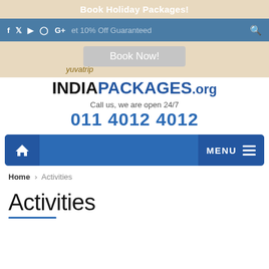Book Holiday Packages!
Get 10% Off Guaranteed
Book Now!
[Figure (logo): yuvatrip INDIAPACKAGES.org logo with call info: Call us, we are open 24/7, 011 4012 4012]
MENU
Home > Activities
Activities